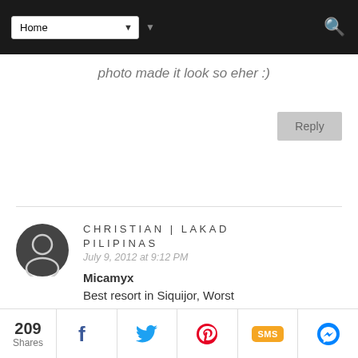Home (navigation dropdown)
photo made it look so eher :)
Reply
CHRISTIAN | LAKAD PILIPINAS
July 9, 2012 at 9:12 PM
Micamyx
Best resort in Siquijor, Worst resto in Siquijor :P
Robbie
True Robbie, halos masira ang
209 Shares